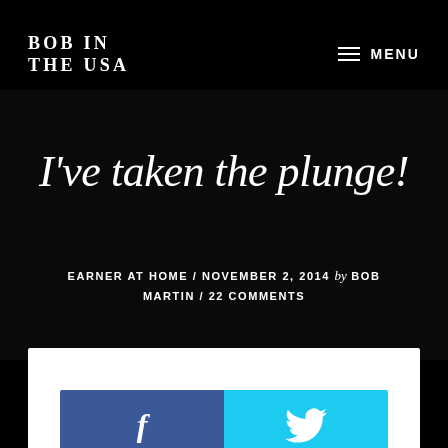BOB IN THE USA
MENU
I've taken the plunge!
EARNER AT HOME / NOVEMBER 2, 2014 by BOB MARTIN / 22 COMMENTS